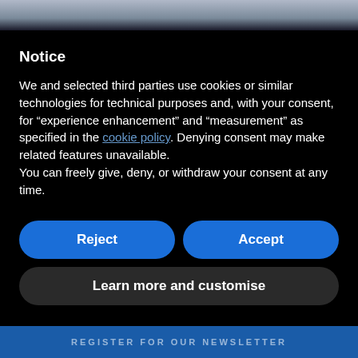Notice
We and selected third parties use cookies or similar technologies for technical purposes and, with your consent, for “experience enhancement” and “measurement” as specified in the cookie policy. Denying consent may make related features unavailable.
You can freely give, deny, or withdraw your consent at any time.
Reject
Accept
Learn more and customise
REGISTER FOR OUR NEWSLETTER